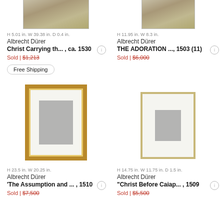[Figure (photo): Partial view of Albrecht Dürer artwork - Christ Carrying the Cross, cropped top]
[Figure (photo): Partial view of Albrecht Dürer artwork - The Adoration, cropped top]
H 5.01 in. W 39.38 in. D 0.4 in.
Albrecht Dürer
Christ Carrying th... , ca. 1530
Sold | $1,213
Free Shipping
H 11.95 in. W 8.3 in.
Albrecht Dürer
THE ADORATION ..., 1503 (11)
Sold | $6,000
[Figure (photo): Albrecht Dürer print in gold frame - The Assumption and Coronation of the Virgin, 1510]
[Figure (photo): Albrecht Dürer print in silver/gold frame - Christ Before Caiaphas, 1509]
H 23.5 in. W 20.25 in.
Albrecht Dürer
'The Assumption and ... , 1510
Sold | $7,500
H 14.75 in. W 11.75 in. D 1.5 in.
Albrecht Dürer
"Christ Before Caiap... , 1509
Sold | $5,500